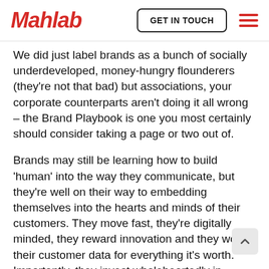Mahlab | GET IN TOUCH
We did just label brands as a bunch of socially underdeveloped, money-hungry flounderers (they're not that bad) but associations, your corporate counterparts aren't doing it all wrong – the Brand Playbook is one you most certainly should consider taking a page or two out of.
Brands may still be learning how to build 'human' into the way they communicate, but they're well on their way to embedding themselves into the hearts and minds of their customers. They move fast, they're digitally minded, they reward innovation and they work their customer data for everything it's worth. Importantly, they invest wholeheartedly in content because they recognise its ability to spark and nurture a connection with customers. You only have